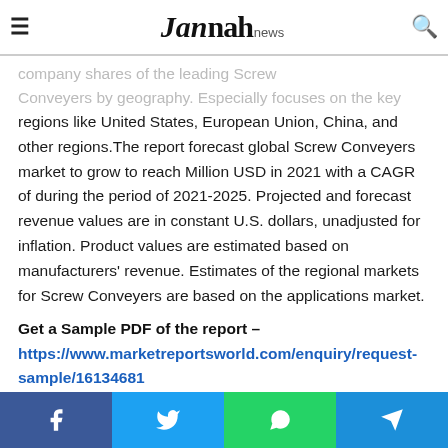Jannah news
company shares of the leading Screw Conveyers by geography. Especially focuses on the key regions like United States, European Union, China, and other regions.The report forecast global Screw Conveyers market to grow to reach Million USD in 2021 with a CAGR of during the period of 2021-2025. Projected and forecast revenue values are in constant U.S. dollars, unadjusted for inflation. Product values are estimated based on manufacturers' revenue. Estimates of the regional markets for Screw Conveyers are based on the applications market.
Get a Sample PDF of the report –
https://www.marketreportsworld.com/enquiry/request-sample/16134681
The Screw Conveyers Market top industry players, revenue
Facebook Twitter WhatsApp Telegram